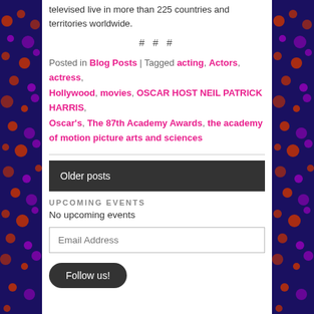televised live in more than 225 countries and territories worldwide.
# # #
Posted in Blog Posts | Tagged acting, Actors, actress, Hollywood, movies, OSCAR HOST NEIL PATRICK HARRIS, Oscar's, The 87th Academy Awards, the academy of motion picture arts and sciences
Older posts
UPCOMING EVENTS
No upcoming events
Email Address
Follow us!